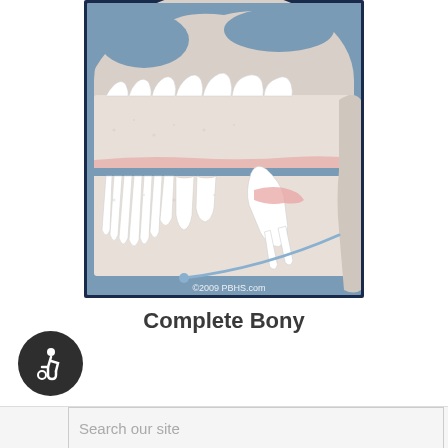[Figure (illustration): Medical illustration of a complete bony impacted wisdom tooth. Cross-sectional side view of a human jaw and skull showing upper and lower teeth. The wisdom tooth is fully embedded in bone. A thin blue line with a small circle endpoint arcs along the lower jaw. Copyright watermark reads ©2009 PBHS.com. Image has a dark blue border.]
Complete Bony